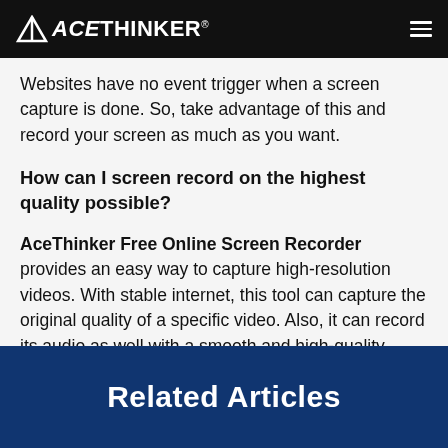ACETHINKER®
Websites have no event trigger when a screen capture is done. So, take advantage of this and record your screen as much as you want.
How can I screen record on the highest quality possible?
AceThinker Free Online Screen Recorder provides an easy way to capture high-resolution videos. With stable internet, this tool can capture the original quality of a specific video. Also, it can record its audio as well with a smooth and high-quality bitrate.
Related Articles